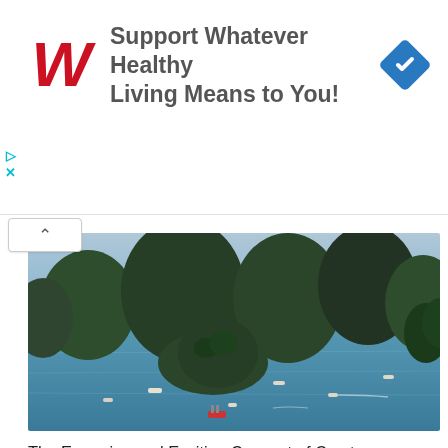[Figure (other): Walgreens advertisement banner: red Walgreens 'W' logo on left, text 'Support Whatever Healthy Living Means to You!' in center, blue diamond navigation icon on right]
[Figure (photo): Aerial/elevated view of a bay with limestone karst islands (Ha Long Bay style), surrounded by calm blue-green water with numerous small boats. Lush green trees frame the right side.]
The Emerging and Exciting Concept of Crypto Tourism
by Marcus Richards  •  10 days ago
[Figure (photo): Dark background image showing a gold/yellow coin partially visible at the bottom, suggesting cryptocurrency theme.]